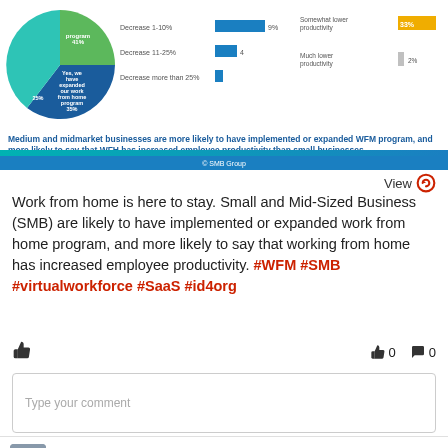[Figure (infographic): Partial infographic showing pie chart about WFH programs, bar charts about productivity decrease, and bar chart about productivity levels]
Medium and midmarket businesses are more likely to have implemented or expanded WFM program, and more likely to say that WFH has increased employee productivity than small businesses.
© SMB Group
Work from home is here to stay. Small and Mid-Sized Business (SMB) are likely to have implemented or expanded work from home program, and more likely to say that working from home has increased employee productivity. #WFM #SMB #virtualworkforce #SaaS #id4org
👍  👍 0  💬 0
Type your comment
Rojit Sorokhaibam ✓  ⊙ recently →Edited